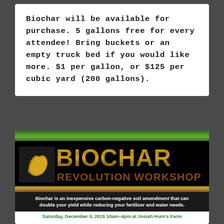Biochar will be available for purchase. 5 gallons free for every attendee! Bring buckets or an empty truck bed if you would like more. $1 per gallon, or $125 per cubic yard (200 gallons).
[Figure (illustration): Biochar Revolution Workshop promotional flyer with golden metallic BIOCHAR logo text, grass/earth background, and event details. Tagline: Biochar is an inexpensive carbon-negative soil amendment that can double your yield while reducing your fertilizer and water needs. Event: Saturday, December 5, 2015 10am-4pm at Josiah Hunt's Farm.]